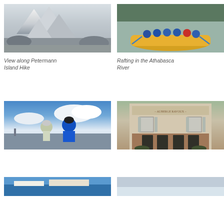[Figure (photo): Black and white photo of snowy mountain peaks and glacier landscape, view along Petermann Island Hike]
View along Petermann Island Hike
[Figure (photo): Group of people rafting in yellow raft on the Athabasca River, wearing blue jackets and helmets]
Rafting in the Athabasca River
[Figure (photo): Two cyclists in helmets posing with city skyline and clouds behind them, one wearing a Backroads jersey]
[Figure (photo): Exterior of a French auberge building with shuttered windows and storefront]
[Figure (photo): Partial view of a building with blue sky, bottom of page left]
[Figure (photo): Partial view of a light-colored scene, bottom of page right]